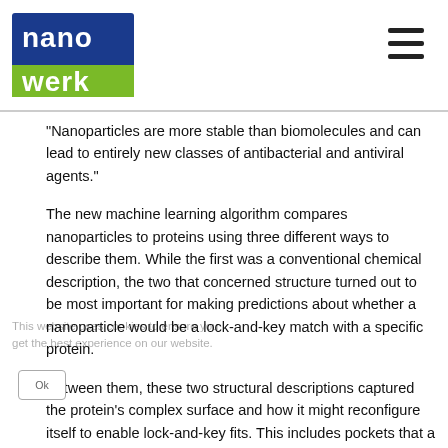nanowerk
“Nanoparticles are more stable than biomolecules and can lead to entirely new classes of antibacterial and antiviral agents.”
The new machine learning algorithm compares nanoparticles to proteins using three different ways to describe them. While the first was a conventional chemical description, the two that concerned structure turned out to be most important for making predictions about whether a nanoparticle would be a lock-and-key match with a specific protein.
Between them, these two structural descriptions captured the protein’s complex surface and how it might reconfigure itself to enable lock-and-key fits. This includes pockets that a nanoparticle could fit into, along with the size such a nanoparticle would need to be. The descriptions also included chirality, a clockwise or counterclockwise twist that is important for predicting how a protein and nanoparticle will lock